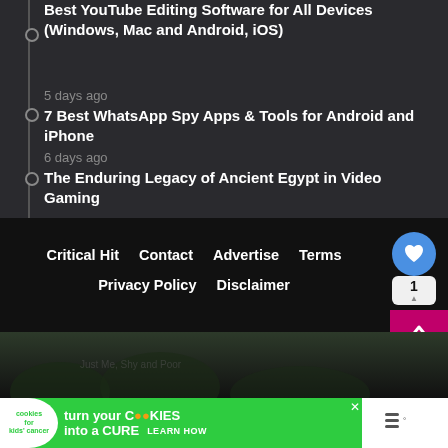Best YouTube Editing Software for All Devices (Windows, Mac and Android, iOS)
5 days ago
7 Best WhatsApp Spy Apps & Tools for Android and iPhone
6 days ago
The Enduring Legacy of Ancient Egypt in Video Gaming
Critical Hit   Contact   Advertise   Terms   Privacy Policy   Disclaimer
[Figure (screenshot): Website footer navigation with heart/like widget showing count of 1, scroll-to-top button, 'What's Next' card for Frostpunk review, and a cookies-for-kids-cancer ad banner.]